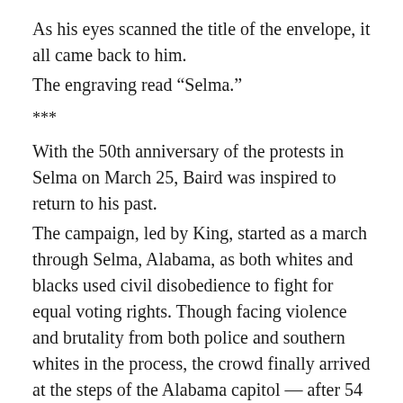As his eyes scanned the title of the envelope, it all came back to him.
The engraving read “Selma.”
***
With the 50th anniversary of the protests in Selma on March 25, Baird was inspired to return to his past.
The campaign, led by King, started as a march through Selma, Alabama, as both whites and blacks used civil disobedience to fight for equal voting rights. Though facing violence and brutality from both police and southern whites in the process, the crowd finally arrived at the steps of the Alabama capitol — after 54 miles and five days.
Sundiata Cha-Jua, professor of history and African-